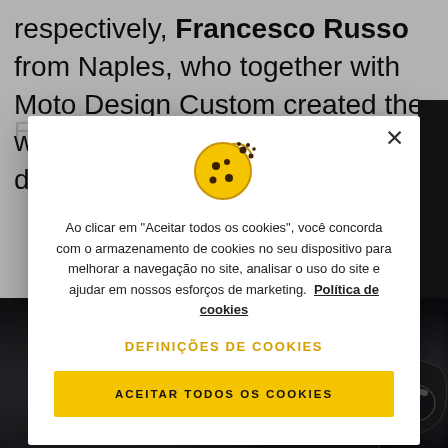respectively, Francesco Russo from Naples, who together with Moto Design Custom created the winning Scrambler of the Cut-down category, and [partially obscured text]
[Figure (screenshot): Cookie consent modal dialog overlay on a motorcycle website. Modal contains a cookie icon, Portuguese-language consent text, a 'DEFINIÇÕES DE COOKIES' link in yellow/gold, and a yellow 'ACEITAR TODOS OS COOKIES' button. Background shows partial motorcycle article text and motorcycle photos.]
[Figure (photo): Close-up photograph of motorcycle engine and exhaust pipes, dark tones, partial view at bottom of page]